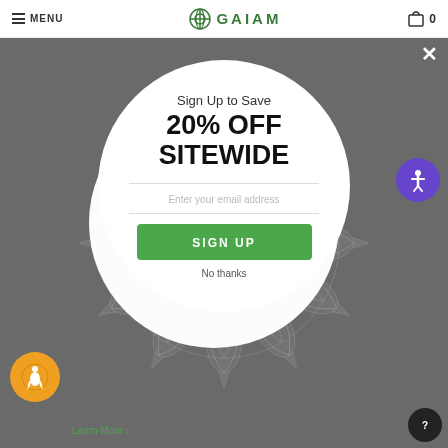MENU | GAIAM | 0
[Figure (screenshot): Gaiam website popup modal with mandala background, showing 'Sign Up to Save 20% OFF SITEWIDE' email signup form with green SIGN UP button and No thanks link]
Sign Up to Save
20% OFF SITEWIDE
Enter your email address
SIGN UP
No thanks
Learn More ›